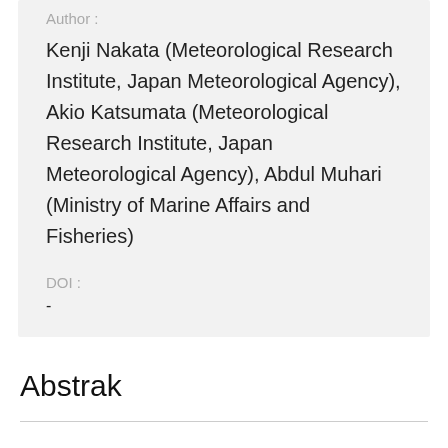Author :
Kenji Nakata (Meteorological Research Institute, Japan Meteorological Agency), Akio Katsumata (Meteorological Research Institute, Japan Meteorological Agency), Abdul Muhari (Ministry of Marine Affairs and Fisheries)
DOI :
-
Abstrak